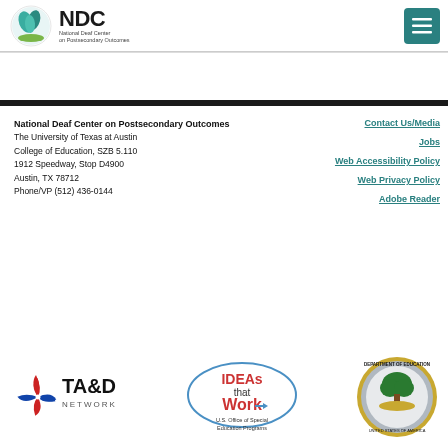NDC – National Deaf Center on Postsecondary Outcomes (header logo and menu)
National Deaf Center on Postsecondary Outcomes
The University of Texas at Austin
College of Education, SZB 5.110
1912 Speedway, Stop D4900
Austin, TX 78712
Phone/VP (512) 436-0144
Contact Us/Media
Jobs
Web Accessibility Policy
Web Privacy Policy
Adobe Reader
[Figure (logo): TA&D Network logo with red/blue pinwheel]
[Figure (logo): IDEAs that Work – U.S. Office of Special Education Programs logo]
[Figure (logo): U.S. Department of Education seal]